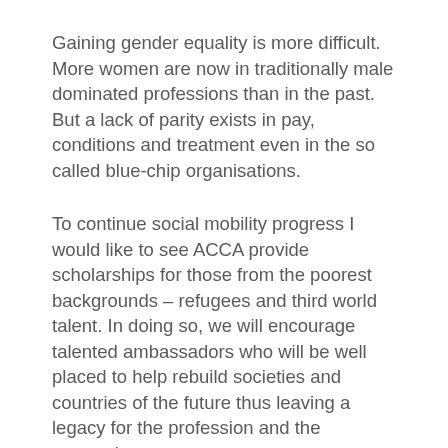Gaining gender equality is more difficult. More women are now in traditionally male dominated professions than in the past. But a lack of parity exists in pay, conditions and treatment even in the so called blue-chip organisations.
To continue social mobility progress I would like to see ACCA provide scholarships for those from the poorest backgrounds – refugees and third world talent. In doing so, we will encourage talented ambassadors who will be well placed to help rebuild societies and countries of the future thus leaving a legacy for the profession and the generations to come.
It is an ambitious vision but I believe ACCA can improve access to opportunities by encouraging talent to surface and putting something back into their communities through corporate and